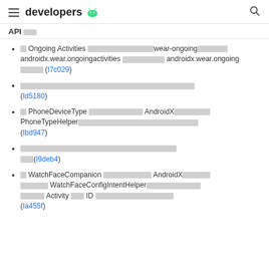developers [android logo]
API [redacted]
[redacted] Ongoing Activities [redacted]wear-ongoing[redacted] androidx.wear.ongoingactivities [redacted] androidx.wear.ongoing [redacted] (I7c029)
[redacted] (Id5180)
[redacted] PhoneDeviceType [redacted] AndroidX[redacted] PhoneTypeHelper[redacted] (Ibd947)
[redacted] (I9deb4)
[redacted] WatchFaceCompanion [redacted] AndroidX[redacted] WatchFaceConfigIntentHelper[redacted] Activity [redacted] ID [redacted] (Ia455f)